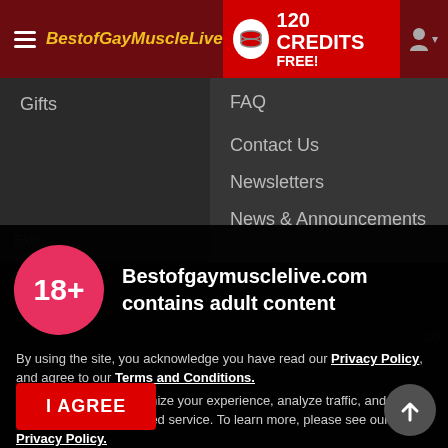BestofGayMuscleLive | 120 CREDITS FREE!
Gifts
FAQ
Contact Us
Newsletters
News & Announcements
18+
Bestofgaymusclelive.com contains adult content
By using the site, you acknowledge you have read our Privacy Policy, and agree to our Terms and Conditions.
We use cookies to optimize your experience, analyze traffic, and deliver more personalized service. To learn more, please see our Privacy Policy.
I AGREE